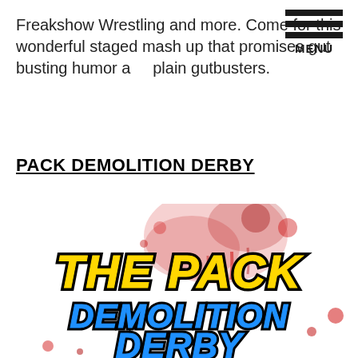Freakshow Wrestling and more. Come for this wonderful staged mash up that promises gut busting humor and plain gutbusters.
PACK DEMOLITION DERBY
[Figure (illustration): The Pack Demolition Derby logo with blood splatter background. Yellow text reads 'THE PACK' at the top in bold italic outlined letters, and blue graffiti-style text reads 'DEMOLITION DERBY' below.]